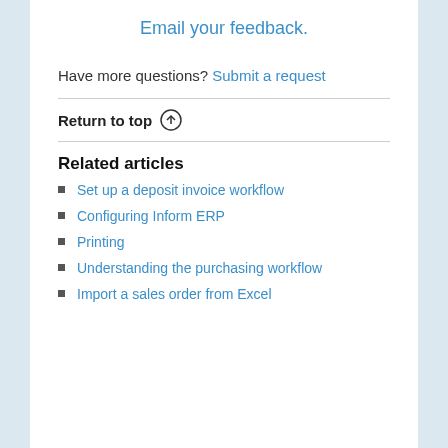Email your feedback.
Have more questions? Submit a request
Return to top ↑
Related articles
Set up a deposit invoice workflow
Configuring Inform ERP
Printing
Understanding the purchasing workflow
Import a sales order from Excel